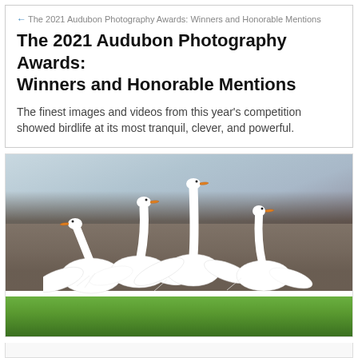← The 2021 Audubon Photography Awards: Winners and Honorable Mentions
The 2021 Audubon Photography Awards: Winners and Honorable Mentions
The finest images and videos from this year's competition showed birdlife at its most tranquil, clever, and powerful.
[Figure (photo): A group of four white swans on green grass with wings spread, photographed against a blurred brown and grey bokeh background with sky above.]